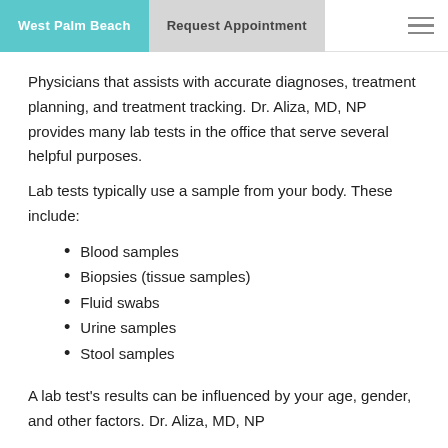West Palm Beach | Request Appointment
Physicians that assists with accurate diagnoses, treatment planning, and treatment tracking. Dr. Aliza, MD, NP provides many lab tests in the office that serve several helpful purposes.
Lab tests typically use a sample from your body. These include:
Blood samples
Biopsies (tissue samples)
Fluid swabs
Urine samples
Stool samples
A lab test's results can be influenced by your age, gender, and other factors. Dr. Aliza, MD, NP